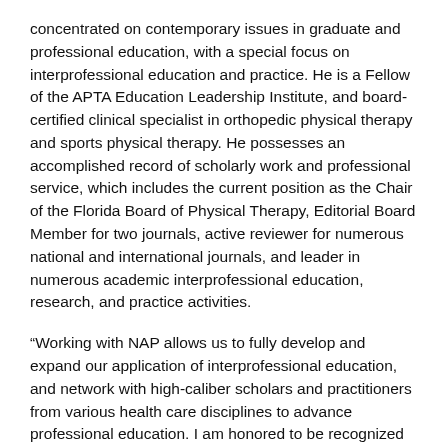concentrated on contemporary issues in graduate and professional education, with a special focus on interprofessional education and practice. He is a Fellow of the APTA Education Leadership Institute, and board-certified clinical specialist in orthopedic physical therapy and sports physical therapy. He possesses an accomplished record of scholarly work and professional service, which includes the current position as the Chair of the Florida Board of Physical Therapy, Editorial Board Member for two journals, active reviewer for numerous national and international journals, and leader in numerous academic interprofessional education, research, and practice activities.
“Working with NAP allows us to fully develop and expand our application of interprofessional education, and network with high-caliber scholars and practitioners from various health care disciplines to advance professional education. I am honored to be recognized as a contributor to this very important work,” said Pabian.